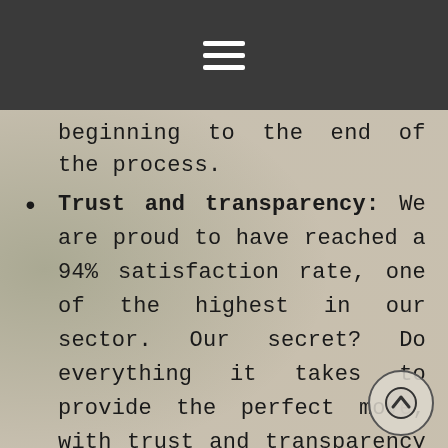☰ (hamburger menu icon)
beginning to the end of the process.
Trust and transparency: We are proud to have reached a 94% satisfaction rate, one of the highest in our sector. Our secret? Do everything it takes to provide the perfect move, with trust and transparency at each step.
Personalization: Personalization is one of our credos, in order to provide a bespoke service to our clients. Indeed, you can choose all the move-possibilities, that is to say any service (importation – exportation –